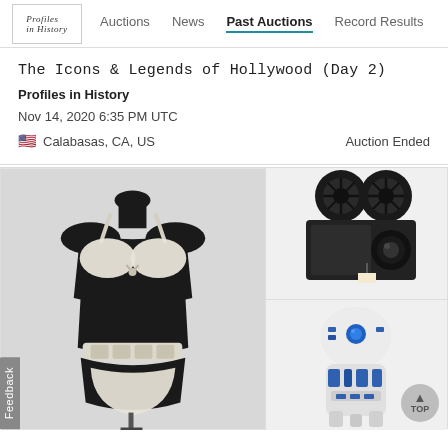Auctions | News | Past Auctions | Record Results
The Icons & Legends of Hollywood (Day 2)
Profiles in History
Nov 14, 2020 6:35 PM UTC
Calabasas, CA, US — Auction Ended
[Figure (photo): Black mannequin torso displaying a white bikini top and bottom with a metallic belt/accessory]
[Figure (photo): Vintage black film camera with twin reels on top]
[Figure (photo): R2-D2 Star Wars robot prop, white and blue cylindrical droid]